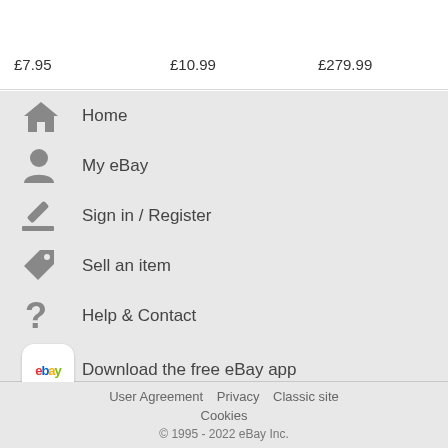£7.95
£10.99
£279.99
Home
My eBay
Sign in / Register
Sell an item
Help & Contact
Download the free eBay app
User Agreement   Privacy   Classic site   Cookies   © 1995 - 2022 eBay Inc.